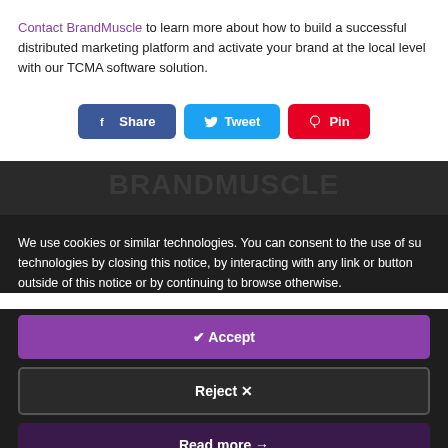Contact BrandMuscle to learn more about how to build a successful distributed marketing platform and activate your brand at the local level with our TCMA software solution.
[Figure (other): Social sharing buttons: Share (Facebook, blue), Tweet (Twitter, light blue), Pin (Pinterest, red)]
[Figure (other): Dark banner/background strip with faint text pattern]
We use cookies or similar technologies. You can consent to the use of su technologies by closing this notice, by interacting with any link or button outside of this notice or by continuing to browse otherwise.
✔ Accept
Reject ✕
Read more →